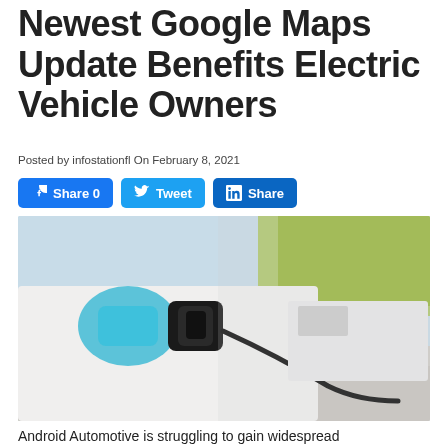Newest Google Maps Update Benefits Electric Vehicle Owners
Posted by infostationfl On February 8, 2021
[Figure (other): Social sharing buttons: Facebook Share 0, Twitter Tweet, LinkedIn Share]
[Figure (photo): Close-up photo of an electric vehicle charging port with a charging cable plugged in, white EV cars in background with blurred trees and parking lot]
Android Automotive is struggling to gain widespread